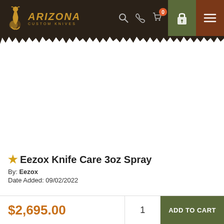[Figure (logo): Arizona Custom Knives logo with snake illustration and gold text]
[Figure (photo): Product image area for Eezox Knife Care 3oz Spray (white/blank area)]
★ Eezox Knife Care 3oz Spray
By: Eezox
Date Added: 09/02/2022
$2,695.00
1
ADD TO CART